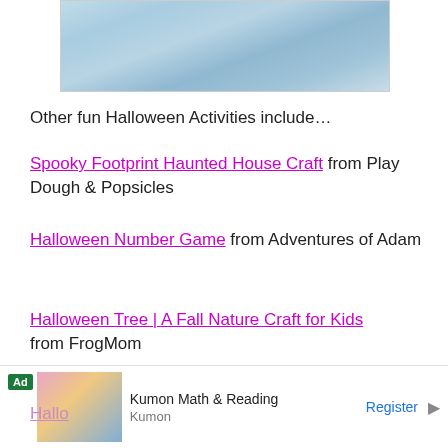[Figure (photo): Partial photo of Halloween-themed craft or activity, blue tones, shown at top of page]
Other fun Halloween Activities include…
Spooky Footprint Haunted House Craft from Play Dough & Popsicles
Halloween Number Game from Adventures of Adam
Halloween Tree | A Fall Nature Craft for Kids from FrogMom
[Figure (photo): Advertisement banner: Kumon Math & Reading ad with image of adult and child, green Ad label, Register button]
Hallo… (partially visible link)